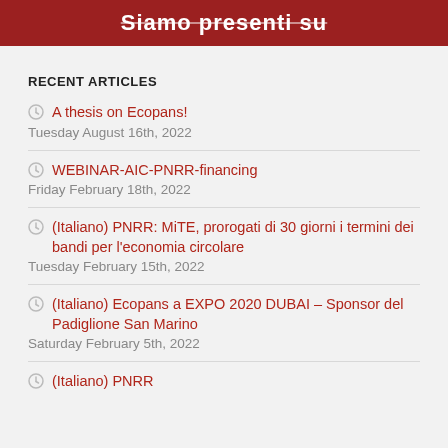Siamo presenti su
RECENT ARTICLES
A thesis on Ecopans!
Tuesday August 16th, 2022
WEBINAR-AIC-PNRR-financing
Friday February 18th, 2022
(Italiano) PNRR: MiTE, prorogati di 30 giorni i termini dei bandi per l'economia circolare
Tuesday February 15th, 2022
(Italiano) Ecopans a EXPO 2020 DUBAI – Sponsor del Padiglione San Marino
Saturday February 5th, 2022
(Italiano) PNRR